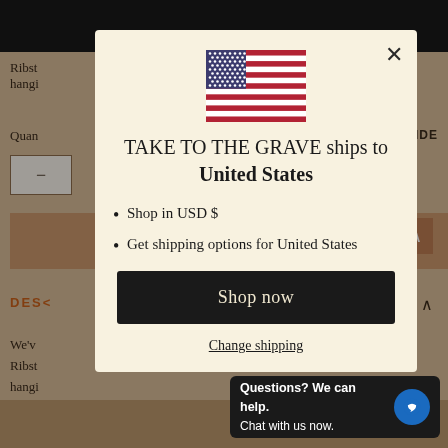[Figure (screenshot): Background page of an e-commerce website with dark top navigation bar, product page content, and brown color theme dimmed behind a modal overlay]
[Figure (illustration): US flag emoji/icon displayed at top center of modal dialog]
TAKE TO THE GRAVE ships to United States
Shop in USD $
Get shipping options for United States
Shop now
Change shipping
Questions? We can help. Chat with us now.